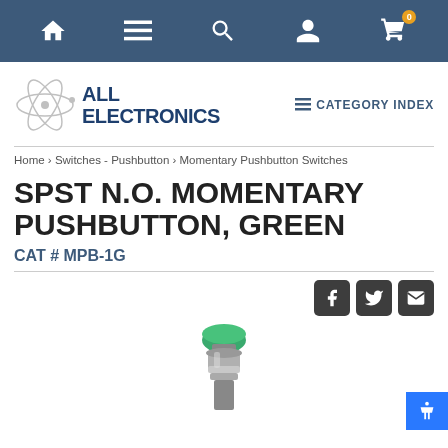Navigation bar with home, menu, search, account, and cart (0) icons
[Figure (logo): All Electronics logo with atomic orbit graphic]
CATEGORY INDEX
Home › Switches - Pushbutton › Momentary Pushbutton Switches
SPST N.O. MOMENTARY PUSHBUTTON, GREEN
CAT # MPB-1G
[Figure (photo): Green SPST momentary pushbutton switch with silver metal body, showing green cap on top]
[Figure (other): Social sharing icons: Facebook, Twitter, Email]